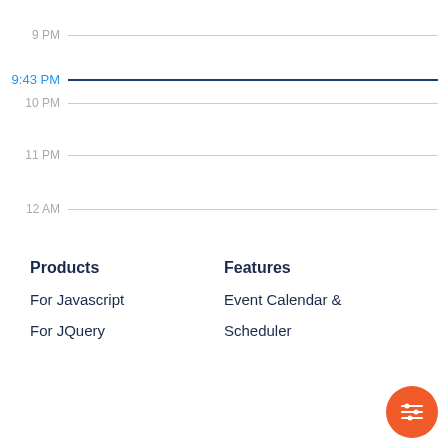9 PM
9:43 PM
10 PM
11 PM
12 AM
Products
Features
For Javascript
Event Calendar &
For JQuery
Scheduler
[Figure (other): Orange circular FAB button with equalizer/filter icon]